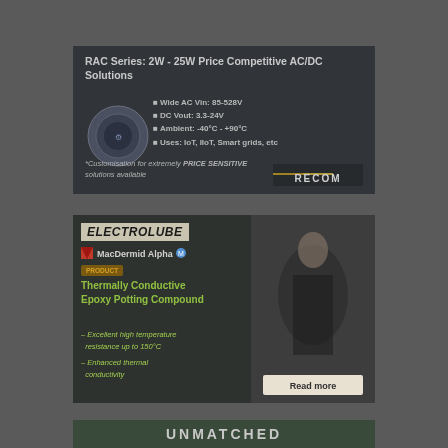[Figure (advertisement): RECOM RAC Series AC/DC power supply advertisement. Dark background with circular product image on left. Lists specifications: Wide AC Vin 85-528V, DC Vout 3.3-24V, Ambient -40°C to +90°C, Uses IoT IIoT Smart grids etc. Customisation for extremely PRICE SENSITIVE solutions available. RECOM logo bottom right.]
[Figure (advertisement): Electrolube / MacDermid Alpha advertisement for Thermally Conductive Epoxy Potting Compound. Dark green/grey background with photo of microscope technician on right. Features: Excellent high temperature resistance up to 150°C, Enhanced thermal conductivity. Read more button.]
[Figure (advertisement): Partial advertisement showing text UNMATCHED at bottom of page.]